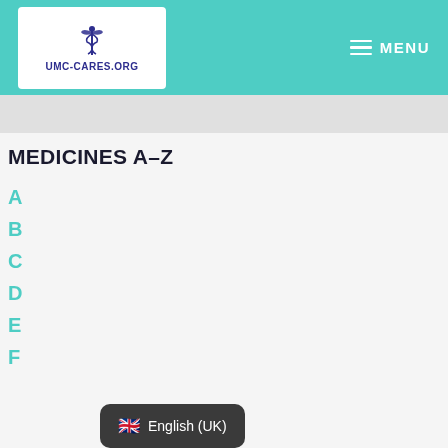[Figure (logo): UMC-CARES.ORG logo with caduceus symbol in blue/purple, white background, inside teal header]
MENU
MEDICINES A-Z
A
B
C
D
E
F
🇬🇧 English (UK)